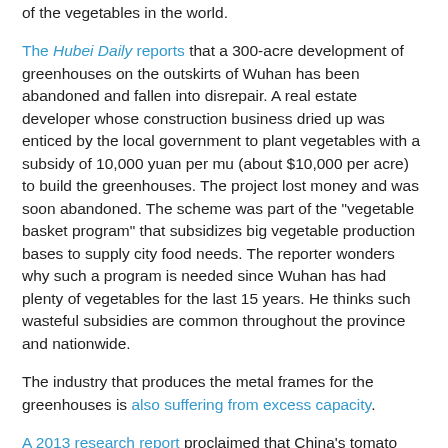of the vegetables in the world.
The Hubei Daily reports that a 300-acre development of greenhouses on the outskirts of Wuhan has been abandoned and fallen into disrepair. A real estate developer whose construction business dried up was enticed by the local government to plant vegetables with a subsidy of 10,000 yuan per mu (about $10,000 per acre) to build the greenhouses. The project lost money and was soon abandoned. The scheme was part of the "vegetable basket program" that subsidizes big vegetable production bases to supply city food needs. The reporter wonders why such a program is needed since Wuhan has had plenty of vegetables for the last 15 years. He thinks such wasteful subsidies are common throughout the province and nationwide.
The industry that produces the metal frames for the greenhouses is also suffering from excess capacity.
A 2013 research report proclaimed that China's tomato paste and apple juice industries have serious excess capacity problems. Tomato processors can utilize the capacity at just...